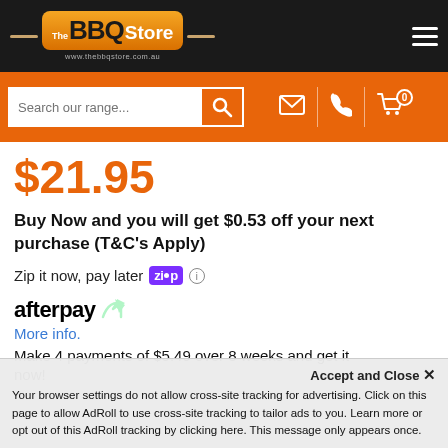The BBQ Store - www.thebbqstore.com.au
[Figure (screenshot): The BBQ Store website header with logo, search bar, and navigation icons (email, phone, cart with 0 badge)]
$21.95
Buy Now and you will get $0.53 off your next purchase (T&C's Apply)
Zip it now, pay later [Zip logo]
afterpay
More info.
Make 4 payments of $5.49 over 8 weeks and get it now!
Accept and Close ×
Your browser settings do not allow cross-site tracking for advertising. Click on this page to allow AdRoll to use cross-site tracking to tailor ads to you. Learn more or opt out of this AdRoll tracking by clicking here. This message only appears once.